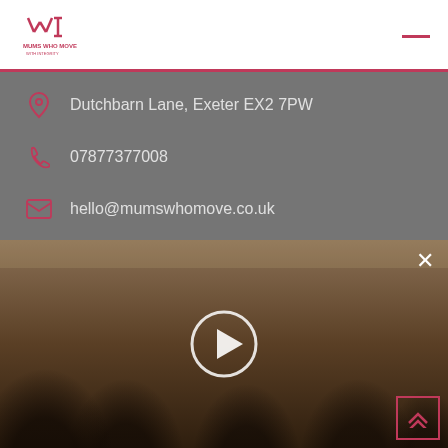[Figure (logo): Mums Who Move logo with stylized M and I letters in red/pink]
Dutchbarn Lane, Exeter EX2 7PW
07877377008
hello@mumswhomove.co.uk
Holistic Core Restore
[Figure (screenshot): Video player showing group fitness class with play button overlay and close X button]